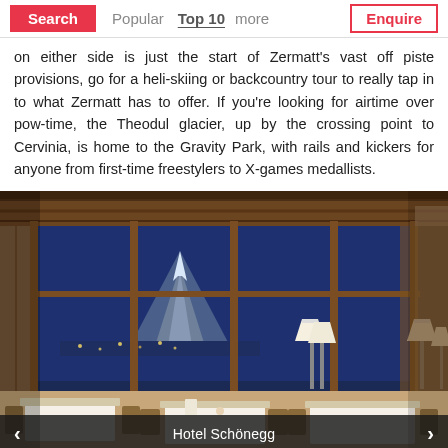Search | Popular | Top 10 | more | Enquire
on either side is just the start of Zermatt's vast off piste provisions, go for a heli-skiing or backcountry tour to really tap in to what Zermatt has to offer. If you're looking for airtime over pow-time, the Theodul glacier, up by the crossing point to Cervinia, is home to the Gravity Park, with rails and kickers for anyone from first-time freestylers to X-games medallists.
[Figure (photo): Interior of Hotel Schönegg restaurant with wooden ceiling and walls, dining tables set with white tablecloths, and large windows overlooking a snowy mountain scene with the Matterhorn visible at dusk.]
Hotel Schönegg